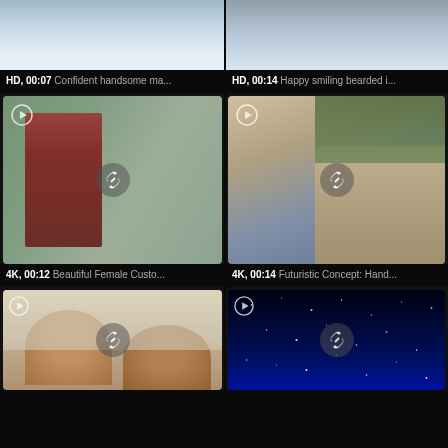[Figure (photo): Partial top view of confident handsome man, video thumbnail]
HD, 00:07 Confident handsome ma...
[Figure (photo): Partial top view of happy smiling bearded individual, video thumbnail]
HD, 00:14 Happy smiling bearded i...
[Figure (photo): Beautiful Female Customer in clothing store with AR overlay, video thumbnail]
4K, 00:12 Beautiful Female Custo...
[Figure (photo): Futuristic Concept: Hand holding device inside autonomous car interior, video thumbnail]
4K, 00:14 Futuristic Concept: Hand...
[Figure (photo): Two people smiling and talking, video thumbnail]
[Figure (photo): Night sky with stars, video thumbnail]